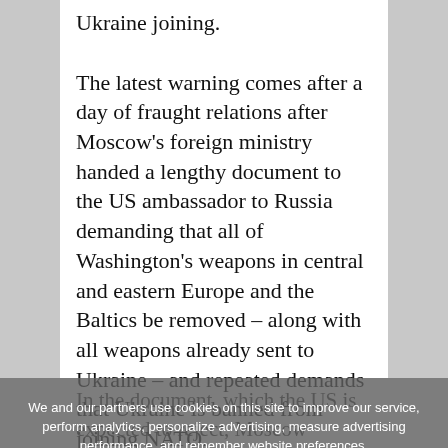Ukraine joining.
The latest warning comes after a day of fraught relations after Moscow’s foreign ministry handed a lengthy document to the US ambassador to Russia demanding that all of Washington’s weapons in central and eastern Europe and the Baltics be removed – along with all weapons already sent to Ukraine – and repeated demands that Ukraine is banned from joining NATO.
In the document, which the US is expected to reject, Moscow accused Washington of failing to respond constructively to the demands it presented in December, including for a halt to the...
We and our partners use cookies on this site to improve our service, perform analytics, personalize advertising, measure advertising performance, and remember website preferences.